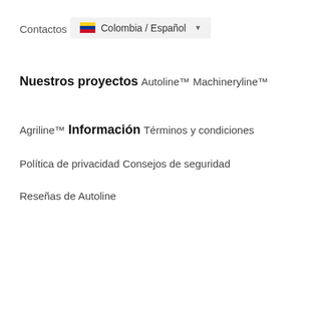Contactos
Colombia / Español
Nuestros proyectos
Autoline™
Machineryline™
Agriline™
Información
Términos y condiciones
Política de privacidad
Consejos de seguridad
Reseñas de Autoline